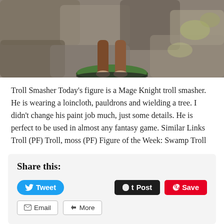[Figure (photo): Close-up photo of a painted miniature figure (Mage Knight troll smasher) on a green and black round base, set against a stone/rocky background.]
Troll Smasher Today's figure is a Mage Knight troll smasher. He is wearing a loincloth, pauldrons and wielding a tree. I didn't change his paint job much, just some details. He is perfect to be used in almost any fantasy game. Similar Links Troll (PF) Troll, moss (PF) Figure of the Week: Swamp Troll
Share this:
Tweet  Post  Save  Email  More